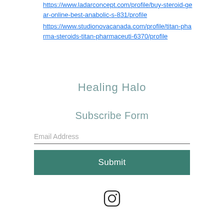https://www.ladarconcept.com/profile/buy-steroid-gear-online-best-anabolic-s-831/profile
https://www.studionovacanada.com/profile/titan-pharma-steroids-titan-pharmaceuti-6370/profile
Healing Halo
Subscribe Form
Email Address
Submit
[Figure (logo): Instagram icon — square rounded rectangle with circle and dot inside]